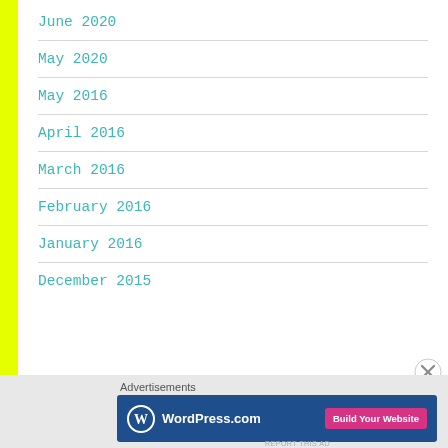June 2020
May 2020
May 2016
April 2016
March 2016
February 2016
January 2016
December 2015
Advertisements
[Figure (other): WordPress.com advertisement banner with logo and 'Build Your Website' button]